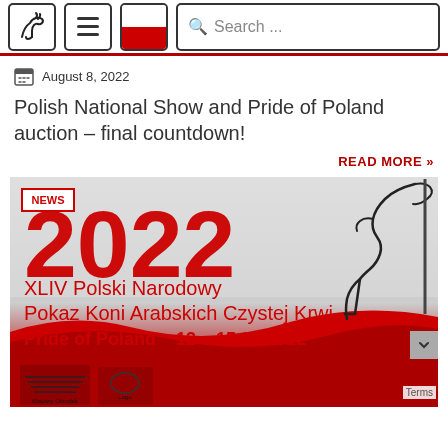Navigation bar with horse logo, hamburger menu, Poland flag, and search box
August 8, 2022
Polish National Show and Pride of Poland auction – final countdown!
READ MORE »
[Figure (illustration): News banner for 2022 XLIV Polski Narodowy Pokaz Koni Arabskich Czystej Krwi, Pride of Poland 12 – 15 08 2022, with red and white Polish flag colors and horse outline graphic]